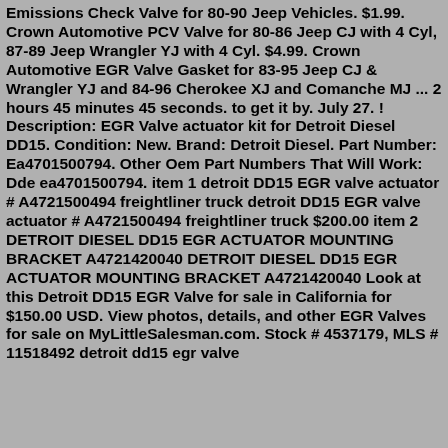Emissions Check Valve for 80-90 Jeep Vehicles. $1.99. Crown Automotive PCV Valve for 80-86 Jeep CJ with 4 Cyl, 87-89 Jeep Wrangler YJ with 4 Cyl. $4.99. Crown Automotive EGR Valve Gasket for 83-95 Jeep CJ & Wrangler YJ and 84-96 Cherokee XJ and Comanche MJ ... 2 hours 45 minutes 45 seconds. to get it by. July 27. ! Description: EGR Valve actuator kit for Detroit Diesel DD15. Condition: New. Brand: Detroit Diesel. Part Number: Ea4701500794. Other Oem Part Numbers That Will Work: Dde ea4701500794. item 1 detroit DD15 EGR valve actuator # A4721500494 freightliner truck detroit DD15 EGR valve actuator # A4721500494 freightliner truck $200.00 item 2 DETROIT DIESEL DD15 EGR ACTUATOR MOUNTING BRACKET A4721420040 DETROIT DIESEL DD15 EGR ACTUATOR MOUNTING BRACKET A4721420040 Look at this Detroit DD15 EGR Valve for sale in California for $150.00 USD. View photos, details, and other EGR Valves for sale on MyLittleSalesman.com. Stock # 4537179, MLS # 11518492 detroit dd15 egr valve